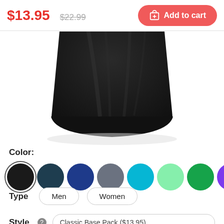$13.95  $22.99  Add to cart
[Figure (photo): Bottom portion of a black t-shirt on a white background]
Color:
[Figure (other): Color swatches: black, dark teal, blue, gray, cyan, mint green, green, purple, dark red]
Type  Men  Women
Style  Classic Base Pack ($13.95)